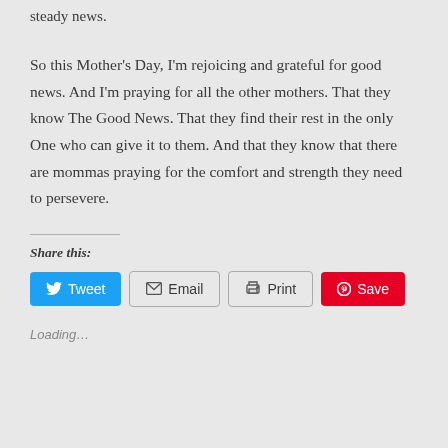steady news.
So this Mother's Day, I'm rejoicing and grateful for good news. And I'm praying for all the other mothers. That they know The Good News. That they find their rest in the only One who can give it to them. And that they know that there are mommas praying for the comfort and strength they need to persevere.
Share this:
[Figure (other): Social share buttons: Tweet (blue), Email (outlined), Print (outlined), Save (red/Pinterest)]
Loading...